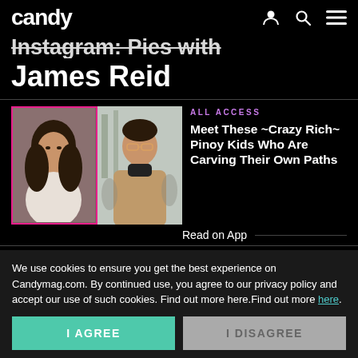candy
Instagram: Pies with James Reid
[Figure (photo): Two photos side by side: a young woman with long dark hair in a white outfit (pink border), and a young man in a tan jacket and glasses in a snowy outdoor setting]
ALL ACCESS
Meet These ~Crazy Rich~ Pinoy Kids Who Are Carving Their Own Paths
Read on App
[Figure (photo): Two photos side by side: a young woman indoors, and a person outdoors with blue sky (yellow-green border)]
BEAUTY
We use cookies to ensure you get the best experience on Candymag.com. By continued use, you agree to our privacy policy and accept our use of such cookies. Find out more here.Find out more here.
I AGREE
I DISAGREE